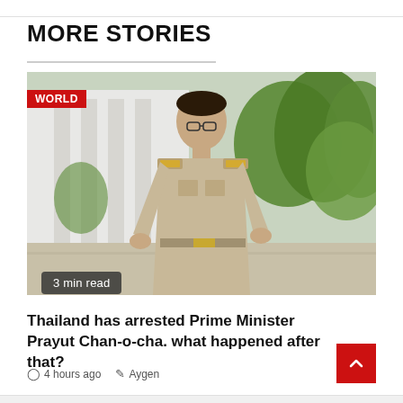MORE STORIES
[Figure (photo): Photo of Thailand Prime Minister Prayut Chan-o-cha in military/official beige uniform walking outdoors with green trees in background. Red 'WORLD' tag overlay in top-left corner. '3 min read' badge in bottom-left corner.]
Thailand has arrested Prime Minister Prayut Chan-o-cha. what happened after that?
4 hours ago   Aygen